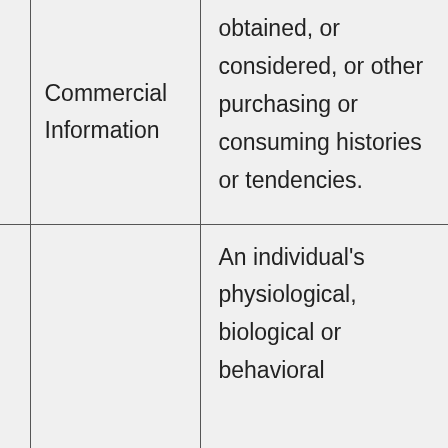|  | Commercial Information | obtained, or considered, or other purchasing or consuming histories or tendencies. |
|  |  | An individual's physiological, biological or behavioral |